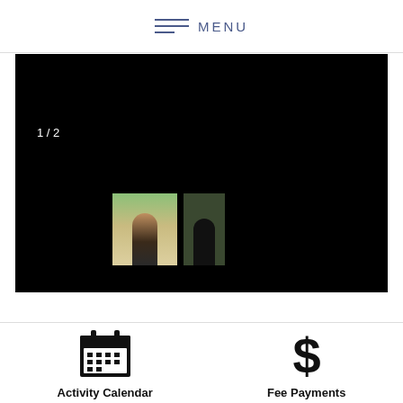MENU
[Figure (screenshot): Black slideshow panel with slide counter '1 / 2' and two photo thumbnails showing people outdoors]
1 / 2
[Figure (photo): Thumbnail 1: person standing outdoors on a path with green background]
[Figure (photo): Thumbnail 2: person in dark clothing against dark/green background]
Activity Calendar
Fee Payments